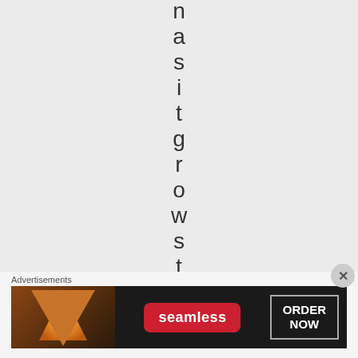nasitgrowsthe
Advertisements
[Figure (other): Seamless food delivery advertisement banner with pizza image on left, seamless logo in red badge in center, and ORDER NOW button on right, dark background]